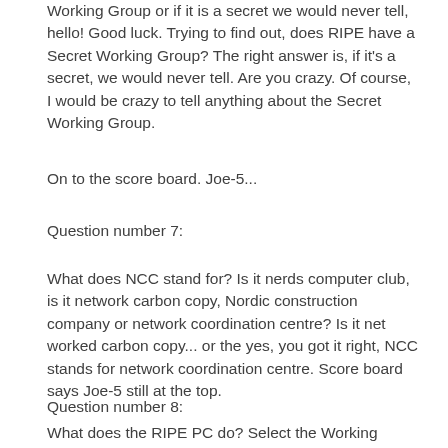Working Group or if it is a secret we would never tell, hello! Good luck. Trying to find out, does RIPE have a Secret Working Group? The right answer is, if it's a secret, we would never tell. Are you crazy. Of course, I would be crazy to tell anything about the Secret Working Group.
On to the score board. Joe-5...
Question number 7:
What does NCC stand for? Is it nerds computer club, is it network carbon copy, Nordic construction company or network coordination centre? Is it net worked carbon copy... or the yes, you got it right, NCC stands for network coordination centre. Score board says Joe-5 still at the top.
Question number 8:
What does the RIPE PC do? Select the Working Group Chairs? Ensure that are parties and celebrations at each